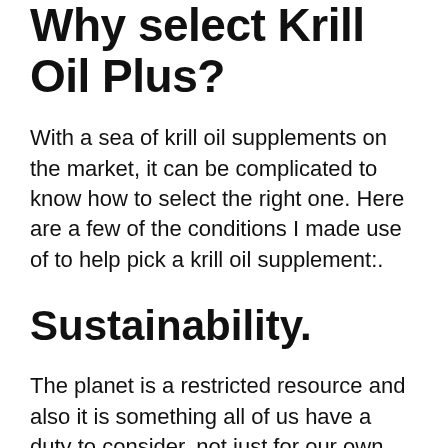Why select Krill Oil Plus?
With a sea of krill oil supplements on the market, it can be complicated to know how to select the right one. Here are a few of the conditions I made use of to help pick a krill oil supplement:.
Sustainability.
The planet is a restricted resource and also it is something all of us have a duty to consider, not just for our own sake but for our kids and also grandchildren. Sustainability is especially crucial for the ocean as our survival depends upon the